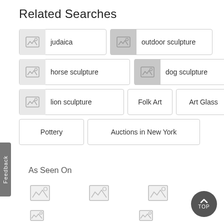Related Searches
judaica
outdoor sculpture
horse sculpture
dog sculpture
lion sculpture
Folk Art
Art Glass
Pottery
Auctions in New York
As Seen On
[Figure (other): Three placeholder image icons in a row]
[Figure (other): Two smaller placeholder image icons]
[Figure (other): TOP scroll-to-top button]